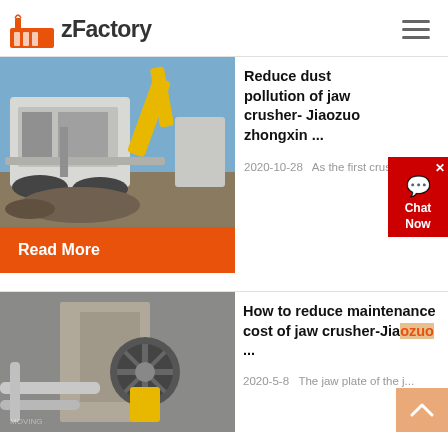zFactory
[Figure (photo): Large jaw crusher machinery on a construction site, yellow excavator in background, blue sky]
Reduce dust pollution of jaw crusher- Jiaozuo zhongxin ...
2020-10-28   As the first crus
Read More
[Figure (photo): Industrial jaw crusher installation with pipes and equipment at a quarry or demolition site]
How to reduce maintenance cost of jaw crusher-Jiaozuo ...
2020-5-8   The jaw plate of the j...